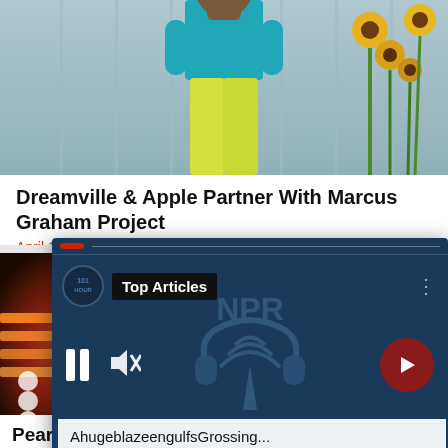[Figure (photo): Person wearing teal shirt and yellow pants standing in front of sunflowers and metal wall]
Dreamville & Apple Partner With Marcus Graham Project
April 19, 2021
[Figure (screenshot): NPR Top Articles audio player overlay with pause, mute, and next buttons, showing 'AhugeblazeengulfsGrossing...' now playing text]
[Figure (photo): Guitarist performing on stage with colorful lights]
Pearl Jam...
Motley Crue Unlike Eddie Vedder
February 15, 2022